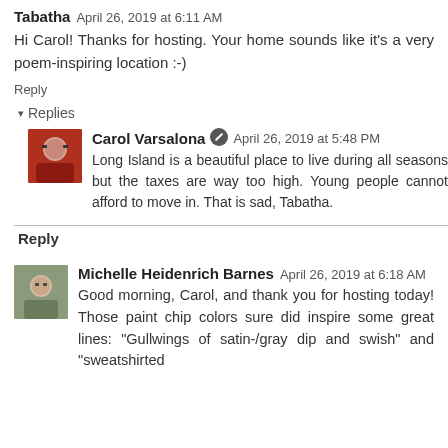Tabatha April 26, 2019 at 6:11 AM
Hi Carol! Thanks for hosting. Your home sounds like it's a very poem-inspiring location :-)
Reply
Replies
Carol Varsalona April 26, 2019 at 5:48 PM
Long Island is a beautiful place to live during all seasons but the taxes are way too high. Young people cannot afford to move in. That is sad, Tabatha.
Reply
Michelle Heidenrich Barnes April 26, 2019 at 6:18 AM
Good morning, Carol, and thank you for hosting today! Those paint chip colors sure did inspire some great lines: "Gullwings of satin-/gray dip and swish" and "sweatshirted sky" — inspired by the artistic display.